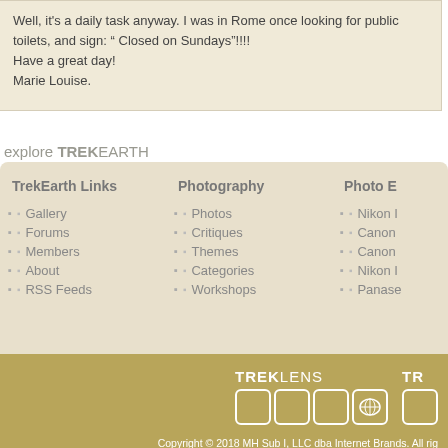Well, it's a daily task anyway. I was in Rome once looking for public toilets, and sign: " Closed on Sundays"!!!!
Have a great day!
Marie Louise.
explore TREKEARTH
TrekEarth Links: Gallery, Forums, Members, About, RSS Feeds
Photography: Photos, Critiques, Themes, Categories, Workshops
Photo E[quipment]: Nikon [D...], Canon [...], Canon [...], Nikon [...], Panase[...]
Copyright © 2018 MH Sub I, LLC dba Internet Brands. All rights reserved. Advertise | Privacy Po[licy]